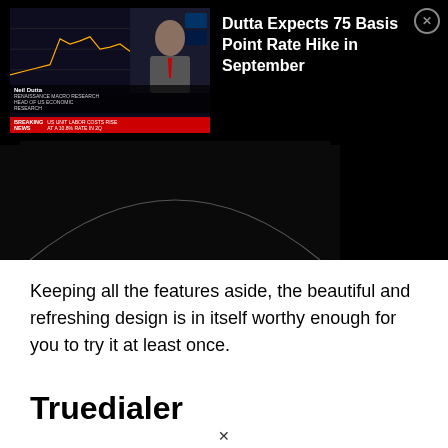[Figure (screenshot): A Bloomberg TV / financial news video screenshot showing a 'Dollar Index Spot' chart with a person identified as Neil Dutta (Head of US Economic Research). A notification overlay on black background shows the title 'Dutta Expects 75 Basis Point Rate Hike in September' with a close (X) button. Breaking news ticker reads 'US UNIT LABOR COSTS RISE AT A 10.8% RATE IN 2Q'. The lower portion shows a dark video frame with a circular arc element visible.]
Keeping all the features aside, the beautiful and refreshing design is in itself worthy enough for you to try it at least once.
Truedialer